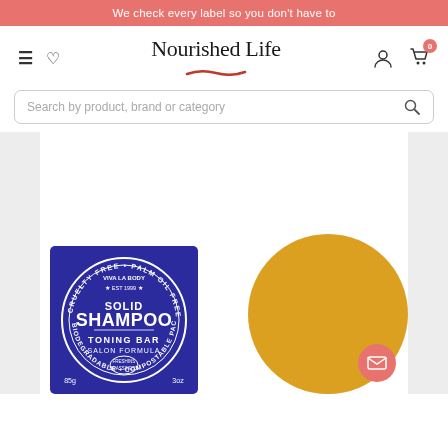We check every label so you don't have to
[Figure (logo): Nourished Life logo with navigation icons: hamburger menu, heart/wishlist icon, brand name 'Nourished Life' with red underline, user account icon, and shopping cart with badge showing 0]
Search by product, brand or category
[Figure (photo): Product image showing Viva La Body Solid Shampoo Toning Bar Salon Formula (85g / 3oz) in purple box with circular badge reading CRUELTY FREE, PALM OIL FREE, VEGAN, BIODEGRADABLE, COMPOSTABLE PACKAGING, EST 1999, FRESHINS BRASSINESS. Next to it is a round yellow shampoo bar disk. A pink email/envelope button appears in the bottom right.]